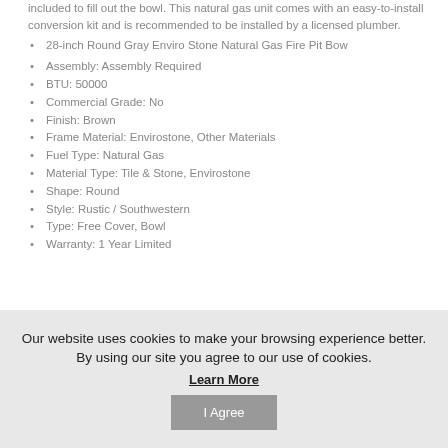included to fill out the bowl. This natural gas unit comes with an easy-to-install conversion kit and is recommended to be installed by a licensed plumber.
28-inch Round Gray Enviro Stone Natural Gas Fire Pit Bow
Assembly: Assembly Required
BTU: 50000
Commercial Grade: No
Finish: Brown
Frame Material: Envirostone, Other Materials
Fuel Type: Natural Gas
Material Type: Tile & Stone, Envirostone
Shape: Round
Style: Rustic / Southwestern
Type: Free Cover, Bowl
Warranty: 1 Year Limited
Our website uses cookies to make your browsing experience better. By using our site you agree to our use of cookies.
Learn More
I Agree